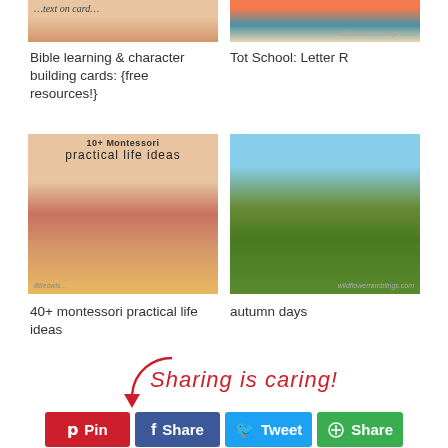[Figure (photo): Top-left image: Bible learning and character building cards, partially visible]
[Figure (photo): Top-right image: Tot School Letter R craft with colorful dots, wildflowerramblings.com watermark]
Bible learning & character building cards: {free resources!}
Tot School: Letter R
[Figure (photo): Middle-left image: child's hands holding red wooden block, practical life ideas overlay text, 40+ montessori practical life ideas]
[Figure (photo): Middle-right image: person sitting on lawnmower in green field with autumn trees, wildflowerramblings.com watermark]
40+ montessori practical life ideas
autumn days
Sharing is caring!
Pin  Share  Tweet  Share